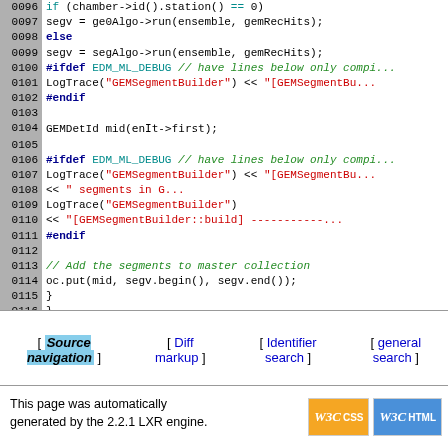[Figure (screenshot): Source code viewer showing C++ code for GEMSegmentBuilder with line numbers 0096-0118, syntax highlighted in blue, cyan, red, and green colors on white background with gray line number gutter.]
[ Source navigation ] [ Diff markup ] [ Identifier search ] [ general search ]
This page was automatically generated by the 2.2.1 LXR engine.